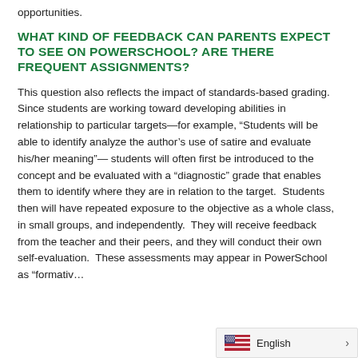opportunities.
WHAT KIND OF FEEDBACK CAN PARENTS EXPECT TO SEE ON POWERSCHOOL? ARE THERE FREQUENT ASSIGNMENTS?
This question also reflects the impact of standards-based grading.  Since students are working toward developing abilities in relationship to particular targets—for example, “Students will be able to identify analyze the author’s use of satire and evaluate his/her meaning”— students will often first be introduced to the concept and be evaluated with a “diagnostic” grade that enables them to identify where they are in relation to the target.  Students then will have repeated exposure to the objective as a whole class, in small groups, and independently.  They will receive feedback from the teacher and their peers, and they will conduct their own self-evaluation.  These assessments may appear in PowerSchool as “formativ…
English